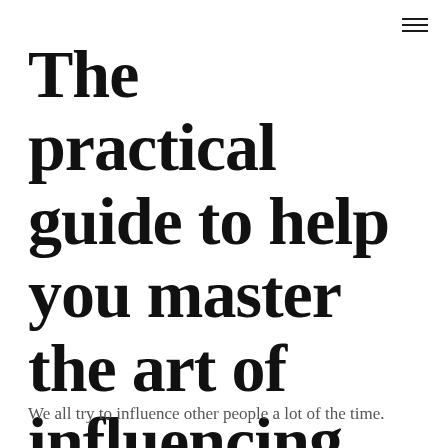The practical guide to help you master the art of influencing
We all try to influence other people a lot of the time.